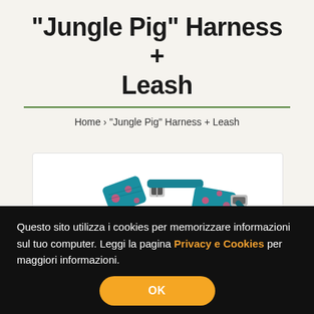"Jungle Pig" Harness + Leash
Home › "Jungle Pig" Harness + Leash
[Figure (photo): Product photo of a teal/blue patterned guinea pig harness with matching leash, showing the strap hardware and decorative fabric with pink accents]
Questo sito utilizza i cookies per memorizzare informazioni sul tuo computer. Leggi la pagina Privacy e Cookies per maggiori informazioni.
OK